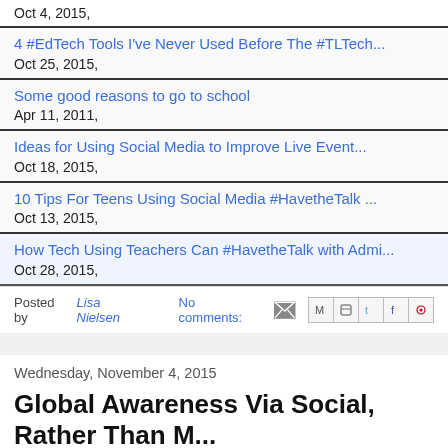Oct 4, 2015,
4 #EdTech Tools I've Never Used Before The #TLTech...
Oct 25, 2015,
Some good reasons to go to school
Apr 11, 2011,
Ideas for Using Social Media to Improve Live Event...
Oct 18, 2015,
10 Tips For Teens Using Social Media #HavetheTalk ...
Oct 13, 2015,
How Tech Using Teachers Can #HavetheTalk with Admi...
Oct 28, 2015,
Posted by Lisa Nielsen   No comments:
Wednesday, November 4, 2015
Global Awareness Via Social, Rather Than M... #VibeIsrael My Next Adventure.